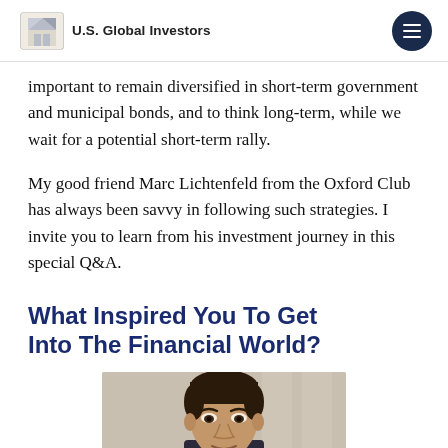U.S. Global Investors
important to remain diversified in short-term government and municipal bonds, and to think long-term, while we wait for a potential short-term rally.
My good friend Marc Lichtenfeld from the Oxford Club has always been savvy in following such strategies. I invite you to learn from his investment journey in this special Q&A.
What Inspired You To Get Into The Financial World?
[Figure (photo): Portrait photograph of Marc Lichtenfeld, a man with dark hair in professional attire, photographed from the shoulders up against a light background.]